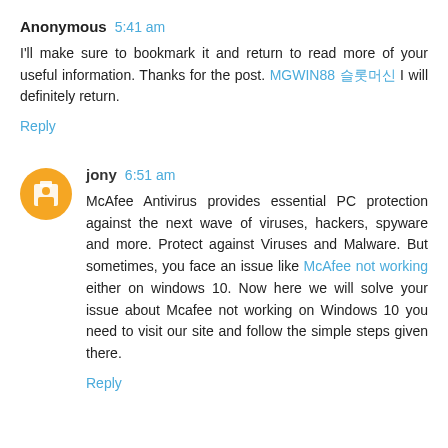Anonymous 5:41 am
I'll make sure to bookmark it and return to read more of your useful information. Thanks for the post. MGWIN88 슬롯머신 I will definitely return.
Reply
jony 6:51 am
McAfee Antivirus provides essential PC protection against the next wave of viruses, hackers, spyware and more. Protect against Viruses and Malware. But sometimes, you face an issue like McAfee not working either on windows 10. Now here we will solve your issue about Mcafee not working on Windows 10 you need to visit our site and follow the simple steps given there.
Reply